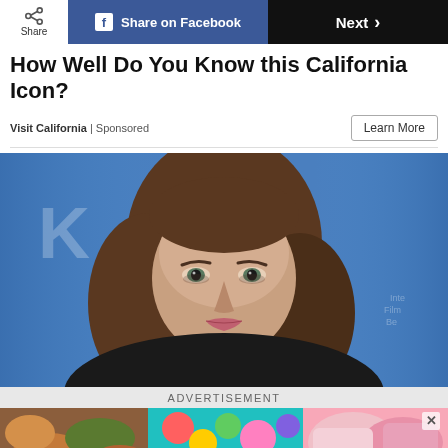Share | Share on Facebook | Next >
How Well Do You Know this California Icon?
Visit California | Sponsored
[Figure (photo): Headshot of a woman with brown hair and green eyes, wearing makeup, photographed against a blue background with a film festival backdrop showing partial text 'Internationale Filmfestspiele Berlin']
ADVERTISEMENT
[Figure (photo): Colorful candy-themed advertisement banner for 'Summer Sweet Shuffle' with colorful sweets and candy imagery]